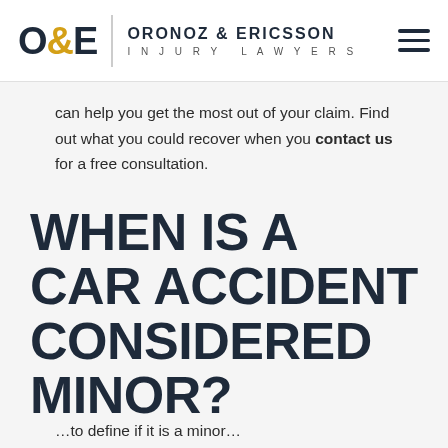O&E | ORONOZ & ERICSSON INJURY LAWYERS
can help you get the most out of your claim. Find out what you could recover when you contact us for a free consultation.
WHEN IS A CAR ACCIDENT CONSIDERED MINOR?
...to define if it is a minor...